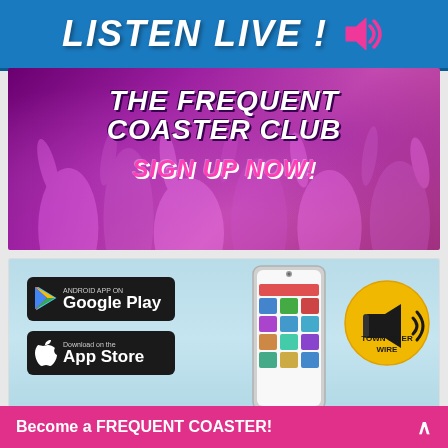[Figure (infographic): LISTEN LIVE! banner with blue background and pink speaker icon]
[Figure (infographic): THE FREQUENT COASTER CLUB - SIGN UP NOW! banner with purple concert crowd background, white and pink text]
[Figure (infographic): App download advertisement showing Google Play and App Store buttons, phone mockup displaying Town Crier Wire app, and Town Crier Wire logo badge on light blue background]
Become a FREQUENT COASTER!